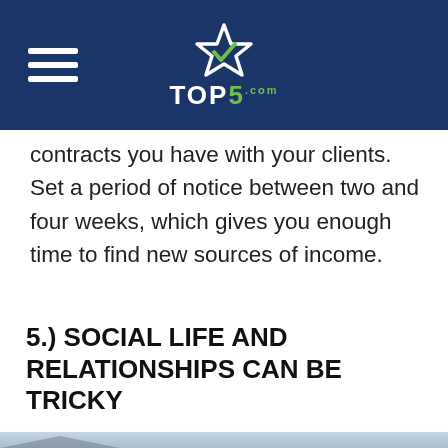TOP5.com
contracts you have with your clients. Set a period of notice between two and four weeks, which gives you enough time to find new sources of income.
5.) SOCIAL LIFE AND RELATIONSHIPS CAN BE TRICKY
[Figure (photo): A couple embracing and kissing outdoors with mountains and cloudy sky in background]